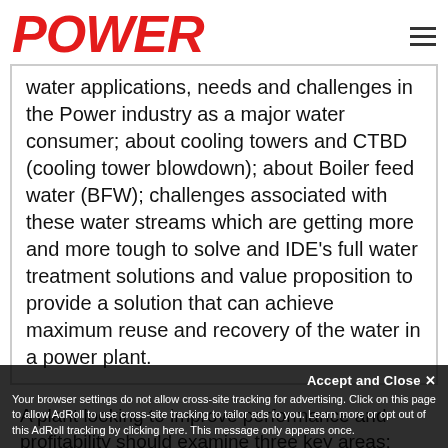POWER
water applications, needs and challenges in the Power industry as a major water consumer; about cooling towers and CTBD (cooling tower blowdown); about Boiler feed water (BFW); challenges associated with these water streams which are getting more and more tough to solve and IDE’s full water treatment solutions and value proposition to provide a solution that can achieve maximum reuse and recovery of the water in a power plant.
A plant looking to improve performance and profitability should examine three key areas: reliability, availability, and heat rate. With a few basic O&M...
Your browser settings do not allow cross-site tracking for advertising. Click on this page to allow AdRoll to use cross-site tracking to tailor ads to you. Learn more or opt out of this AdRoll tracking by clicking here. This message only appears once.